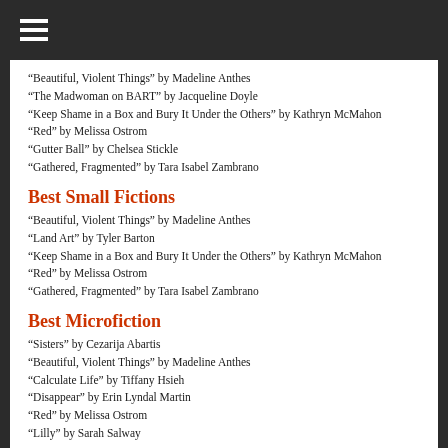“Beautiful, Violent Things” by Madeline Anthes
“The Madwoman on BART” by Jacqueline Doyle
“Keep Shame in a Box and Bury It Under the Others” by Kathryn McMahon
“Red” by Melissa Ostrom
“Gutter Ball” by Chelsea Stickle
“Gathered, Fragmented” by Tara Isabel Zambrano
Best Small Fictions
“Beautiful, Violent Things” by Madeline Anthes
“Land Art” by Tyler Barton
“Keep Shame in a Box and Bury It Under the Others” by Kathryn McMahon
“Red” by Melissa Ostrom
“Gathered, Fragmented” by Tara Isabel Zambrano
Best Microfiction
“Sisters” by Cezarija Abartis
“Beautiful, Violent Things” by Madeline Anthes
“Calculate Life” by Tiffany Hsieh
“Disappear” by Erin Lyndal Martin
“Red” by Melissa Ostrom
“Lilly” by Sarah Salway